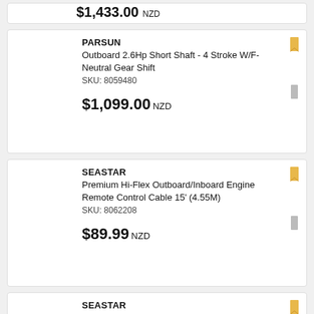$1,099.00 NZD (partial top card)
PARSUN
Outboard 2.6Hp Short Shaft - 4 Stroke W/F-Neutral Gear Shift
SKU: 8059480
$1,099.00 NZD
SEASTAR
Premium Hi-Flex Outboard/Inboard Engine Remote Control Cable 15' (4.55M)
SKU: 8062208
$89.99 NZD
SEASTAR
Premium Hi-Flex Outboard/Inboard Engine